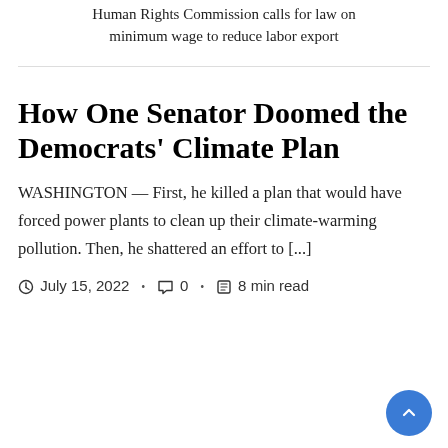Human Rights Commission calls for law on minimum wage to reduce labor export
How One Senator Doomed the Democrats' Climate Plan
WASHINGTON — First, he killed a plan that would have forced power plants to clean up their climate-warming pollution. Then, he shattered an effort to [...]
July 15, 2022 · 0 · 8 min read